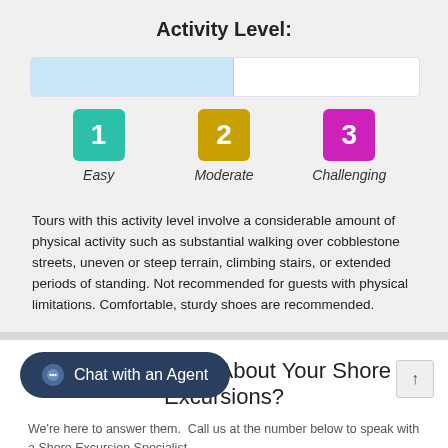Activity Level:
[Figure (infographic): Activity level progress bar partially filled (about 52%) in light blue, with three level indicators below: 1 Easy (teal), 2 Moderate (gold), 3 Challenging (magenta)]
Tours with this activity level involve a considerable amount of physical activity such as substantial walking over cobblestone streets, uneven or steep terrain, climbing stairs, or extended periods of standing. Not recommended for guests with physical limitations. Comfortable, sturdy shoes are recommended.
Have Questions About Your Shore Excursions?
We're here to answer them. Call us at the number below to speak with a Shore Excursion Specialist.
1.866.625.1167